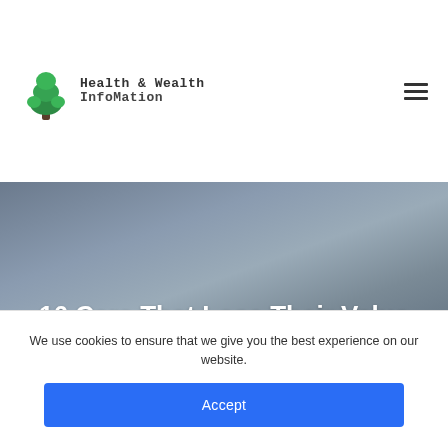[Figure (logo): Health & Wealth Infomation logo with green tree icon and text]
16 Cars That Lose Their Value Fastest
We use cookies to ensure that we give you the best experience on our website.
Accept